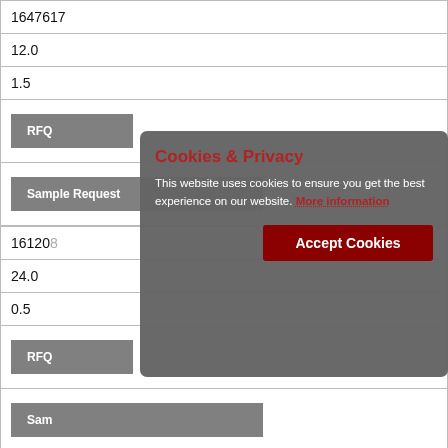| 1647617 |
| 12.0 |
| 1.5 |
| RFQ |
| Sample Request |
| 161208... |
| 24.0 |
| 0.5 |
| RFQ (partial) |
| Sam... |
| 1570275... |
Cookies & Privacy
This website uses cookies to ensure you get the best experience on our website. More information
Accept Cookies